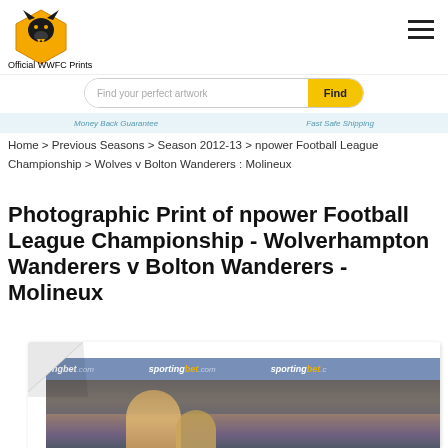Official WWFC Prints
Find your perfect artwork
Money Back Guarantee   Fast Safe Shipping
Home > Previous Seasons > Season 2012-13 > npower Football League Championship > Wolves v Bolton Wanderers : Molineux
Photographic Print of npower Football League Championship - Wolverhampton Wanderers v Bolton Wanderers - Molineux
[Figure (photo): Football match photo showing players at Molineux stadium with sportingbet.com advertising boards visible]